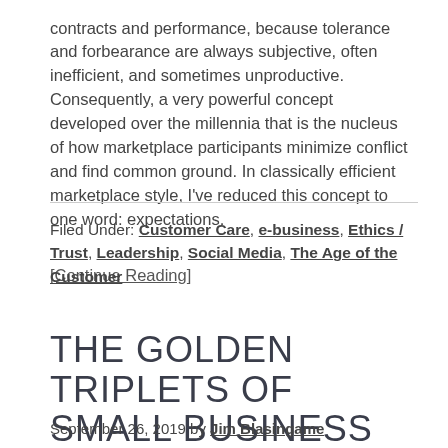contracts and performance, because tolerance and forbearance are always subjective, often inefficient, and sometimes unproductive. Consequently, a very powerful concept developed over the millennia that is the nucleus of how marketplace participants minimize conflict and find common ground. In classically efficient marketplace style, I've reduced this concept to one word: expectations.
[Continue Reading]
Filed Under: Customer Care, e-business, Ethics / Trust, Leadership, Social Media, The Age of the Customer
THE GOLDEN TRIPLETS OF SMALL BUSINESS SUCCESS
September 26, 2019 by Jim Blasingame